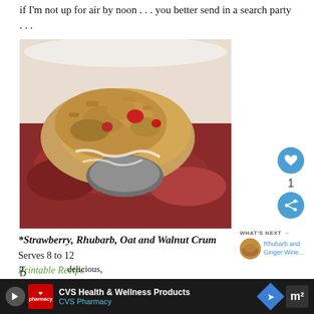if I'm not up for air by noon . . . you better send in a search party . . .
[Figure (photo): Close-up photo of strawberry rhubarb oat and walnut crumble in a white bowl, served with a spoon, showing red fruit and golden crumble topping]
*Strawberry, Rhubarb, Oat and Walnut Crum...
Serves 8 to 12
Printable Recipe
WHAT'S NEXT → Rhubarb and Ginger Wine...
T... delicious, D...